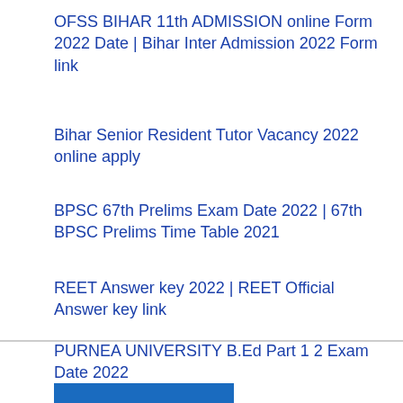OFSS BIHAR 11th ADMISSION online Form 2022 Date | Bihar Inter Admission 2022 Form link
Bihar Senior Resident Tutor Vacancy 2022 online apply
BPSC 67th Prelims Exam Date 2022 | 67th BPSC Prelims Time Table 2021
REET Answer key 2022 | REET Official Answer key link
PURNEA UNIVERSITY B.Ed Part 1 2 Exam Date 2022